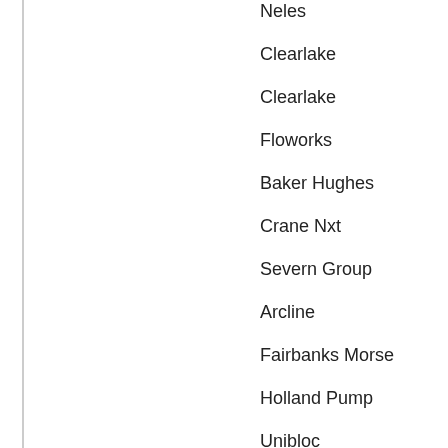| Column1 | Column2 |
| --- | --- |
| Neles | Flowrox |
| Clearlake | Semitorr |
| Clearlake | Floworks |
| Floworks | Genesis |
| Baker Hughes | Q12 Eleme... |
| Crane Nxt | Crane Co |
| Severn Group | Valvtechnol... |
| Arcline | Fairbanks M... |
| Fairbanks Morse | Hunt Valve |
| Holland Pump | Pump Servi... |
| Unibloc | Flowronics |